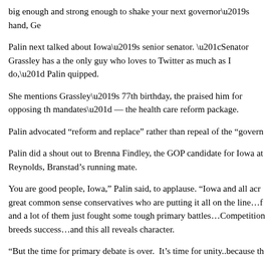big enough and strong enough to shake your next governor’s hand, Ge
Palin next talked about Iowa’s senior senator. “Senator Grassley has a the only guy who loves to Twitter as much as I do,” Palin quipped.
She mentions Grassley’s 77th birthday, the praised him for opposing th mandates” — the health care reform package.
Palin advocated “reform and replace” rather than repeal of the “govern
Palin did a shout out to Brenna Findley, the GOP candidate for Iowa at Reynolds, Branstad’s running mate.
You are good people, Iowa,” Palin said, to applause. “Iowa and all acr great common sense conservatives who are putting it all on the line…f and a lot of them just fought some tough primary battles…Competition breeds success…and this all reveals character.
“But the time for primary debate is over. It’s time for unity..because th
“It is time to unite. If the goal really is to take away the gavel from Pe